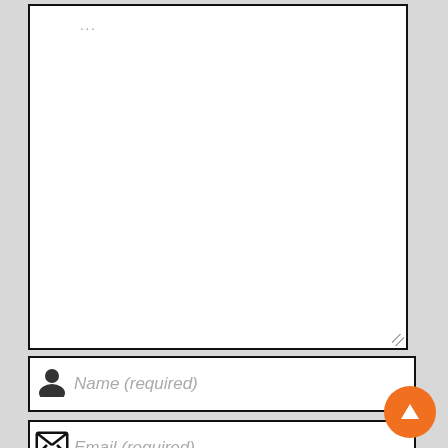[Figure (screenshot): A web form showing a textarea (partially visible at top with '...' placeholder), a Name (required) input field with person icon, an Email (required) input field with envelope icon, a reCAPTCHA widget with checkbox and 'I'm not a robot' label, and a red 'SUBMIT REVIEW' button. An orange FAB up-arrow button is visible at the bottom right.]